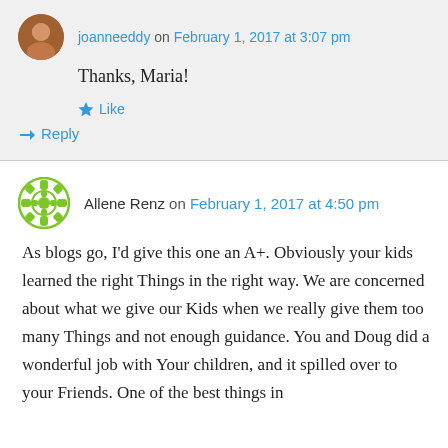joanneeddy on February 1, 2017 at 3:07 pm
Thanks, Maria!
Like
Reply
Allene Renz on February 1, 2017 at 4:50 pm
As blogs go, I’d give this one an A+. Obviously your kids learned the right Things in the right way. We are concerned about what we give our Kids when we really give them too many Things and not enough guidance. You and Doug did a wonderful job with Your children, and it spilled over to your Friends. One of the best things in